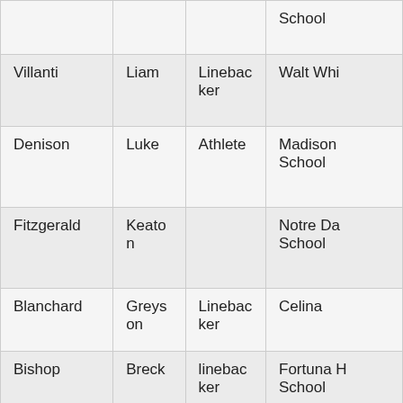| Last Name | First Name | Position | School |
| --- | --- | --- | --- |
|  |  |  | School |
| Villanti | Liam | Linebacker | Walt Whi... |
| Denison | Luke | Athlete | Madison School |
| Fitzgerald | Keaton |  | Notre Da... School |
| Blanchard | Greyson | Linebacker | Celina |
| Bishop | Breck | linebacker | Fortuna H... School |
| Cooper | Davis | OLB/SS | Notre Da... School (S... Oaks, CA... |